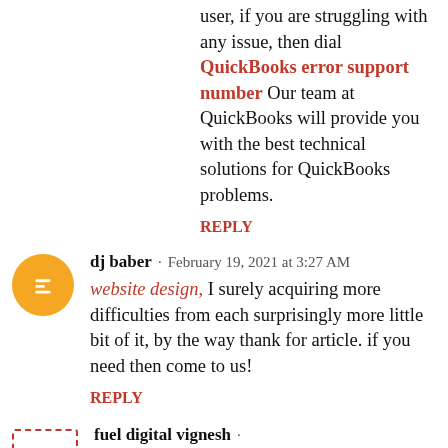user, if you are struggling with any issue, then dial QuickBooks error support number Our team at QuickBooks will provide you with the best technical solutions for QuickBooks problems.
REPLY
dj baber · February 19, 2021 at 3:27 AM
website design, I surely acquiring more difficulties from each surprisingly more little bit of it, by the way thank for article. if you need then come to us!
REPLY
fuel digital vignesh · February 22, 2021 at 11:30 PM
We are the Best Digital Marketing Agency in Chennai,Coimbatore,Madurai and change makers of digital! For Enquiry Contact us @+91 9791811111